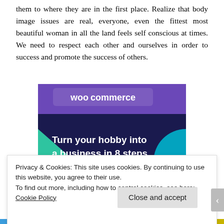them to where they are in the first place. Realize that body image issues are real, everyone, even the fittest most beautiful woman in all the land feels self conscious at times. We need to respect each other and ourselves in order to success and promote the success of others.
[Figure (screenshot): WooCommerce advertisement banner with dark purple/navy background, green and cyan geometric shapes, and white bold text reading 'Turn your hobby into a business in 8 steps'. The WooCommerce logo is visible at the top.]
Privacy & Cookies: This site uses cookies. By continuing to use this website, you agree to their use.
To find out more, including how to control cookies, see here: Cookie Policy